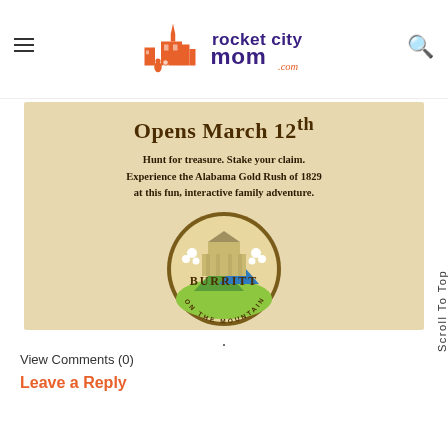rocket city mom .com
[Figure (illustration): Burritt on the Mountain advertisement. Opens March 12th. Hunt for treasure. Stake your claim. Experience the Alabama Gold Rush of 1829 at this fun, interactive family adventure. Burritt on the Mountain logo (circular badge with building, mountains, and flowers).]
View Comments (0)
Leave a Reply